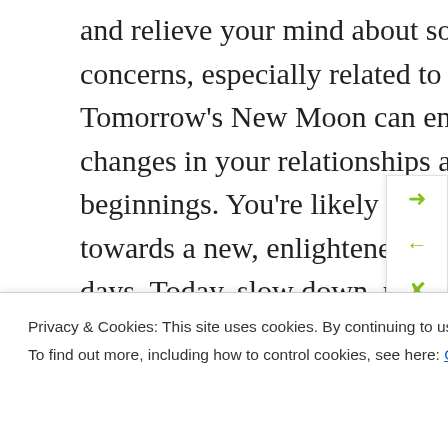and relieve your mind about some of your troubles or concerns, especially related to health and work. Tomorrow's New Moon can encourage fundamental changes in your relationships and the possibility of new beginnings. You're likely to be pulled in a new direction or towards a new, enlightened perspective in the coming days. Today, slow down, reminisce, and reflect.
Gemini
to hash things out. We're a
Privacy & Cookies: This site uses cookies. By continuing to use this website, you agree to their use.
To find out more, including how to control cookies, see here: Cookie Policy